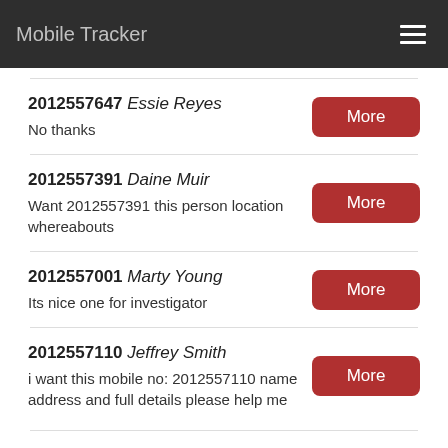Mobile Tracker
2012557647 Essie Reyes
No thanks
2012557391 Daine Muir
Want 2012557391 this person location whereabouts
2012557001 Marty Young
Its nice one for investigator
2012557110 Jeffrey Smith
i want this mobile no: 2012557110 name address and full details please help me